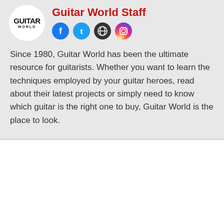[Figure (logo): Guitar World magazine logo in a white circle]
Guitar World Staff
[Figure (other): Social media icons: Facebook, Twitter, Globe/Website, Instagram]
Since 1980, Guitar World has been the ultimate resource for guitarists. Whether you want to learn the techniques employed by your guitar heroes, read about their latest projects or simply need to know which guitar is the right one to buy, Guitar World is the place to look.